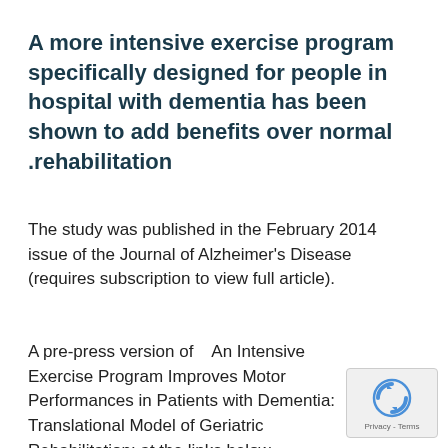A more intensive exercise program specifically designed for people in hospital with dementia has been shown to add benefits over normal rehabilitation.
The study was published in the February 2014 issue of the Journal of Alzheimer's Disease (requires subscription to view full article).
A pre-press version of   An Intensive Exercise Program Improves Motor Performances in Patients with Dementia: Translational Model of Geriatric Rehabilitation: at the links below
[Figure (logo): reCAPTCHA logo with Privacy and Terms text]